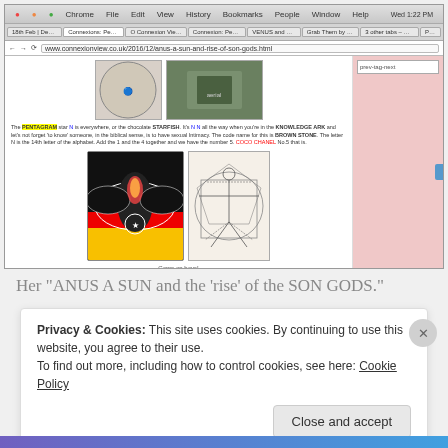[Figure (screenshot): Browser window screenshot showing a webpage with conspiracy theory content, images of an eagle emblem and Vitruvian man, and text about PENTAGRAM, STARFISH, KNOWLEDGE ARK, BROWN STONE, COCO CHANEL]
Her "ANUS A SUN and the 'rise' of the SON GODS."
Privacy & Cookies: This site uses cookies. By continuing to use this website, you agree to their use.
To find out more, including how to control cookies, see here: Cookie Policy
Close and accept